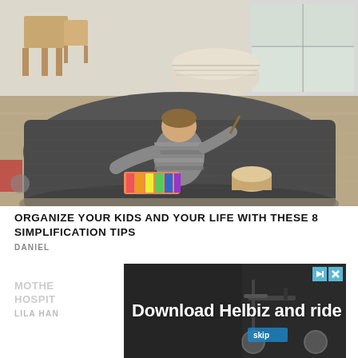[Figure (photo): A baby/toddler sitting on a dark grey rug, playing with a xylophone and small drum, viewed from behind. Wooden furniture (small table and chairs) and a laundry basket visible in background. Room with large windows.]
ORGANIZE YOUR KIDS AND YOUR LIFE WITH THESE 8 SIMPLIFICATION TIPS
DANIEL
[Figure (screenshot): Advertisement banner for Helbiz showing a scooter with text 'Download Helbiz and ride' on a dark background.]
MOTHE... HOSPIT...
LILA HAN...